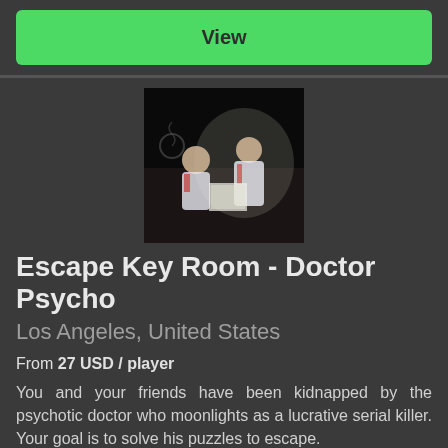View
[Figure (photo): Two people dressed in costume (doctor/nurse theme) in a dark room setting for escape room promotion]
Escape Key Room - Doctor Psycho
Los Angeles, United States
From 27 USD / player
You and your friends have been kidnapped by the psychotic doctor who moonlights as a lucrative serial killer. Your goal is to solve his puzzles to escape.